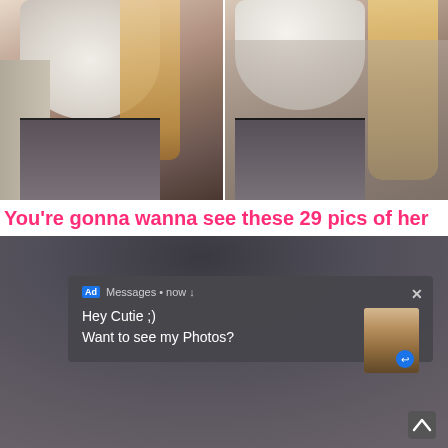[Figure (photo): Two side-by-side photos of a person in a white top, gray jacket, and dark pants with blonde hair]
You're gonna wanna see these 29 pics of her
[Figure (screenshot): Photo of person in dark pants/leggings with an overlaid ad popup notification reading 'Ad Messages • now ↓ Hey Cutie ;) Want to see my Photos?' with a thumbnail image and close button X, and an up-arrow at bottom right]